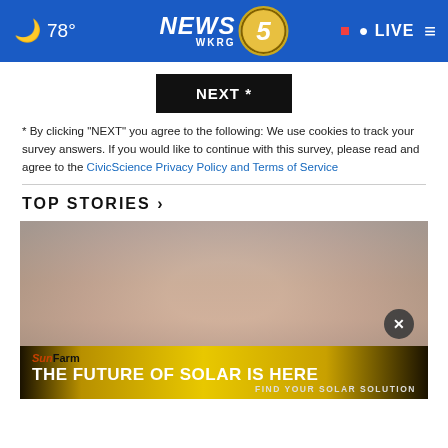🌙 78° | NEWS 5 WKRG | LIVE
[Figure (other): Black NEXT button with asterisk]
* By clicking "NEXT" you agree to the following: We use cookies to track your survey answers. If you would like to continue with this survey, please read and agree to the CivicScience Privacy Policy and Terms of Service
TOP STORIES ›
[Figure (photo): Close-up photo of an elderly person's face, partially obscured by an advertisement overlay. Ad shows SunFarm logo with text: THE FUTURE OF SOLAR IS HERE / FIND YOUR SOLAR SOLUTION]